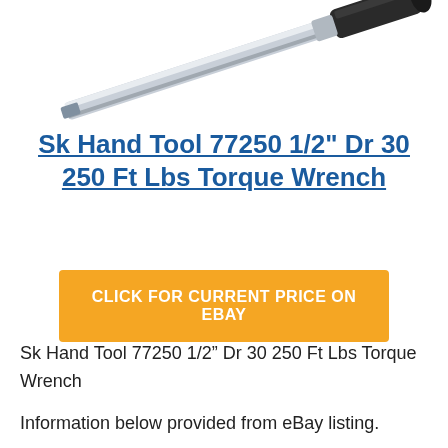[Figure (photo): Partial view of a torque wrench (chrome and black handle) on white background, cropped at top of page]
Sk Hand Tool 77250 1/2" Dr 30 250 Ft Lbs Torque Wrench
CLICK FOR CURRENT PRICE ON EBAY
Sk Hand Tool 77250 1/2” Dr 30 250 Ft Lbs Torque Wrench
Information below provided from eBay listing.